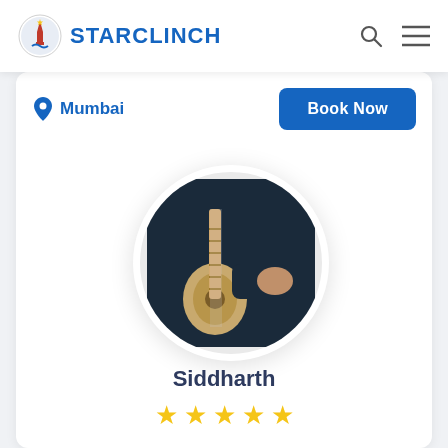STARCLINCH
Mumbai
Book Now
[Figure (photo): Circular profile photo of a person playing an acoustic guitar, wearing a dark jacket. The image is cropped in a circle with a white border.]
Siddharth
★★★★★ (5 stars)